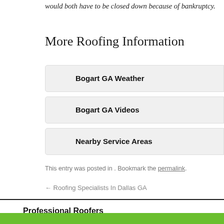would both have to be closed down because of bankruptcy.
More Roofing Information
Bogart GA Weather
Bogart GA Videos
Nearby Service Areas
This entry was posted in . Bookmark the permalink.
← Roofing Specialists In Dallas GA
Professional Roofers